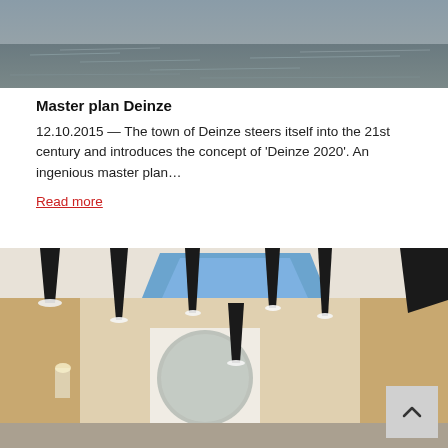[Figure (photo): Aerial or landscape photo showing water/reflective surface, dark tones, top portion of page]
Master plan Deinze
12.10.2015 — The town of Deinze steers itself into the 21st century and introduces the concept of 'Deinze 2020'. An ingenious master plan…
Read more
[Figure (photo): Interior photo of a room with black cone-shaped pendant lights hanging from ceiling, wooden wall panels, mirror, blue skylight above]